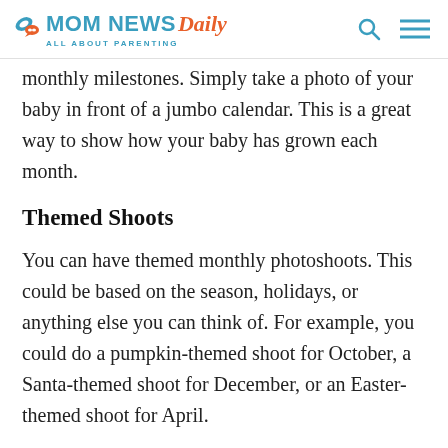MOM NEWS Daily — ALL ABOUT PARENTING
monthly milestones. Simply take a photo of your baby in front of a jumbo calendar. This is a great way to show how your baby has grown each month.
Themed Shoots
You can have themed monthly photoshoots. This could be based on the season, holidays, or anything else you can think of. For example, you could do a pumpkin-themed shoot for October, a Santa-themed shoot for December, or an Easter-themed shoot for April.